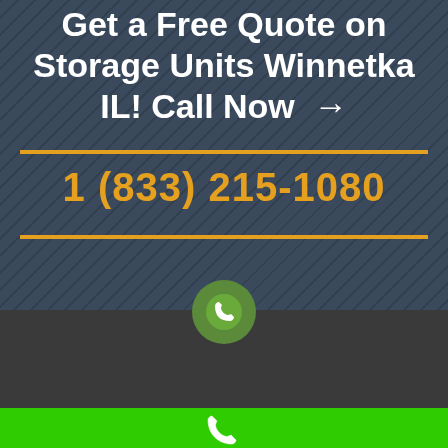Get a Free Quote on Storage Units Winnetka IL! Call Now →
1 (833) 215-1080
[Figure (illustration): Green phone call button bar at bottom with white phone handset icon]